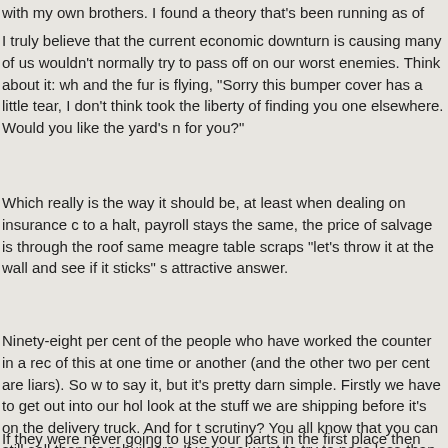with my own brothers. I found a theory that's been running as of late.
I truly believe that the current economic downturn is causing many of us to try to pass off parts we wouldn't normally try to pass off on our worst enemies. Think about it: when the phones are ringing and the fur is flying, "Sorry this bumper cover has a little tear, I don't think" ... took the liberty of finding you one elsewhere. Would you like the yard's number so they can locate one for you?"
Which really is the way it should be, at least when dealing on insurance claims. When business grinds to a halt, payroll stays the same, the price of salvage is through the roof and we are fighting over the same meagre table scraps "let's throw it at the wall and see if it sticks" starts to look like an attractive answer.
Ninety-eight per cent of the people who have worked the counter in a recycling yard have been guilty of this at one time or another (and the other two per cent are liars). So what do we do about it? Hate to say it, but it's pretty darn simple. Firstly we have to get out into our holdings and physically look at the stuff we are shipping before it's on the delivery truck. And for the parts that won't pass scrutiny? You all know that you can still sell them to rebuilders. If your salvage yard doesn't want to try to pass less-than- perfect parts on to big quality collision facilities, then pick up the phone and represent your product accordingly.
If they were never going to use your parts in the first place then you...